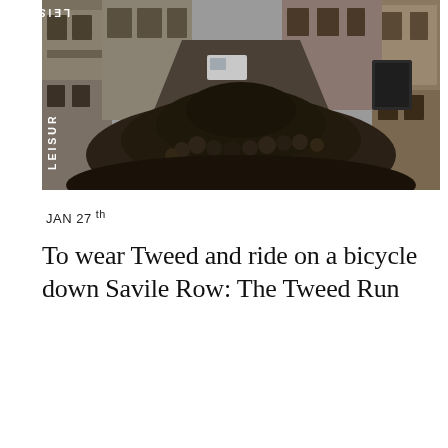[Figure (photo): A large crowd of people on bicycles dressed in tweed clothing riding down a narrow London street lined with shops and buildings. The word LEISURE appears vertically in white text on the left edge of the photo.]
JAN 27th
To wear Tweed and ride on a bicycle down Savile Row: The Tweed Run